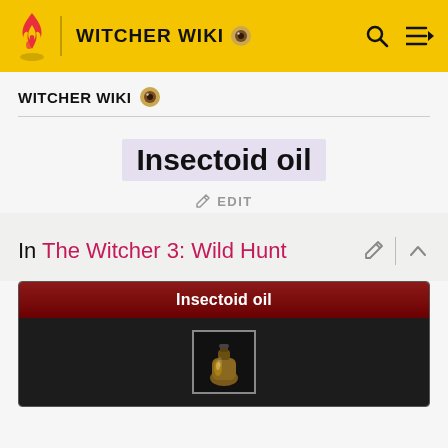WITCHER WIKI
Insectoid oil
EDIT
In The Witcher 3: Wild Hunt
| Insectoid oil |
| --- |
| [item image] |